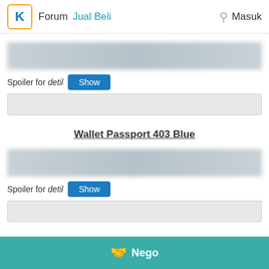Forum  Jual Beli  Masuk
[Figure (screenshot): Blurred/redacted product listing row 1]
Spoiler for detil  Show
[Figure (screenshot): Spoiler collapsed content box 1]
Wallet Passport 403 Blue
[Figure (screenshot): Blurred/redacted product listing row 2]
Spoiler for detil  Show
[Figure (screenshot): Spoiler collapsed content box 2]
Pouch Mini Tablet 8" 405 Blue
[Figure (screenshot): Blurred/redacted product listing row 3]
Nego